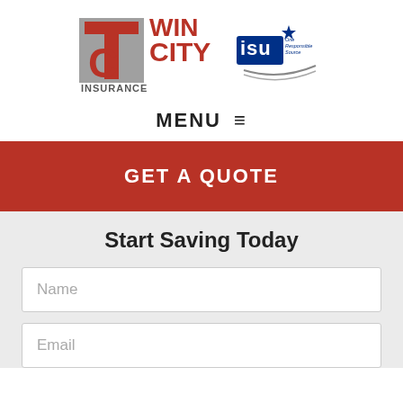[Figure (logo): Twin City Insurance logo with red and gray lettering]
[Figure (logo): ISU One Responsible Source logo with star and swoosh]
MENU ≡
GET A QUOTE
Start Saving Today
Name
Email